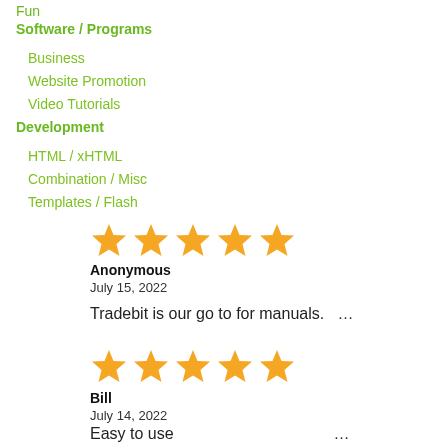Fun
Software / Programs
Business
Website Promotion
Video Tutorials
Development
HTML / xHTML
Combination / Misc
Templates / Flash
Anonymous
July 15, 2022
Tradebit is our go to for manuals.   …
Bill
July 14, 2022
Easy to use   …
(stars third review)